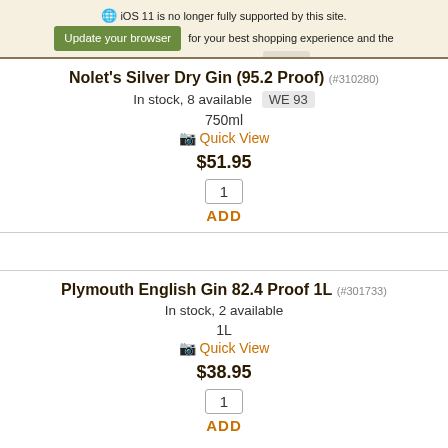iOS 11 is no longer fully supported by this site. Update your browser for your best shopping experience and the highest level of security Ignore
Nolet's Silver Dry Gin (95.2 Proof) (#310280)
In stock, 8 available  WE 93
750ml
Quick View
$51.95
1
ADD
Plymouth English Gin 82.4 Proof 1L (#301733)
In stock, 2 available
1L
Quick View
$38.95
1
ADD